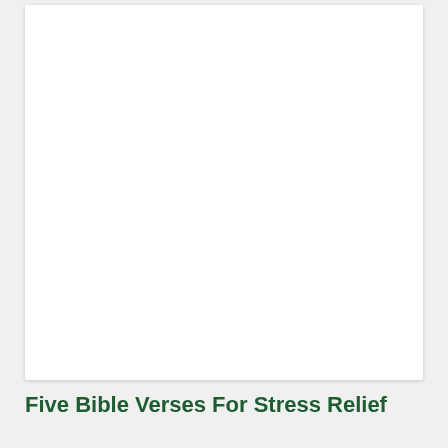[Figure (other): White blank rectangular card/image placeholder area with drop shadow on light gray background]
Five Bible Verses For Stress Relief